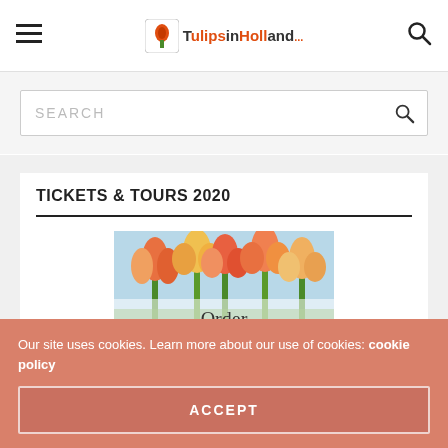TulipsinHolland.com navigation header with hamburger menu and search icon
[Figure (screenshot): Search bar with SEARCH placeholder text and magnifying glass icon on grey background]
TICKETS & TOURS 2020
[Figure (photo): Close-up photo of orange and yellow tulips with text overlay reading 'Order']
Our site uses cookies. Learn more about our use of cookies: cookie policy
ACCEPT